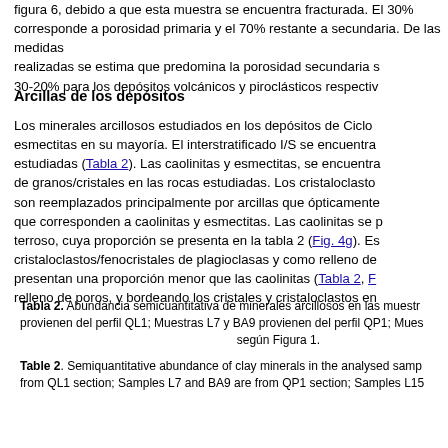figura 6, debido a que esta muestra se encuentra fracturada. El 30% corresponde a porosidad primaria y el 70% restante a secundaria. De las medidas realizadas se estima que predomina la porosidad secundaria sobre la primaria con 30-20% para los depósitos volcánicos y piroclásticos respectivamente.
Arcillas de los depósitos
Los minerales arcillosos estudiados en los depósitos de Ciclo I corresponden a esmectitas en su mayoría. El interstratificado I/S se encuentra en todas las muestras estudiadas (Tabla 2). Las caolinitas y esmectitas, se encuentran como recubrimiento de granos/cristales en las rocas estudiadas. Los cristaloclastos/fenocristales de vidrio son reemplazados principalmente por arcillas que ópticamente poseen colores que corresponden a caolinitas y esmectitas. Las caolinitas se presentan con un color terroso, cuya proporción se presenta en la tabla 2 (Fig. 4g). Éstas se encuentran en cristaloclastos/fenocristales de plagioclasas y como relleno de poros. Las esmectitas presentan una proporción menor que las caolinitas (Tabla 2, Fig. 4h) como relleno de poros, y bordeando los cristales y cristaloclastos en las rocas.
Tabla 2. Abundancia semicuantitativa de minerales arcillosos en las muestras analizadas. Muestras provienen del perfil QL1; Muestras L7 y BA9 provienen del perfil QP1; Muestras L15 según Figura 1.
Table 2. Semiquantitative abundance of clay minerals in the analysed samples. Samples are from QL1 section; Samples L7 and BA9 are from QP1 section; Samples L15